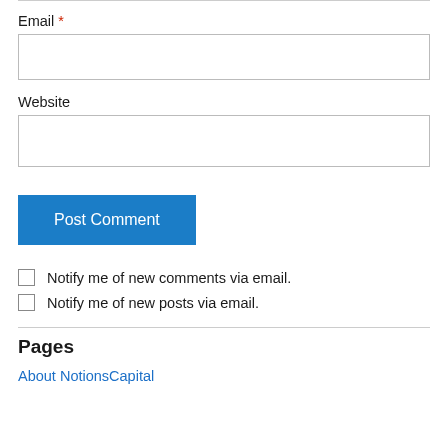Email *
Website
Post Comment
Notify me of new comments via email.
Notify me of new posts via email.
Pages
About NotionsCapital